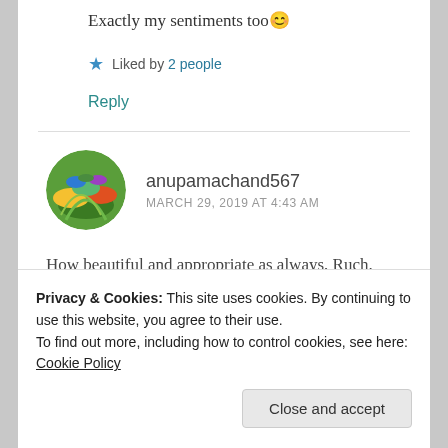Exactly my sentiments too 😊
★ Liked by 2 people
Reply
anupamachand567
MARCH 29, 2019 AT 4:43 AM
How beautiful and appropriate as always, Ruch. The sheer magnitude of her bottomless
Privacy & Cookies: This site uses cookies. By continuing to use this website, you agree to their use. To find out more, including how to control cookies, see here: Cookie Policy
Close and accept
as out to beginning nothing out of that forms